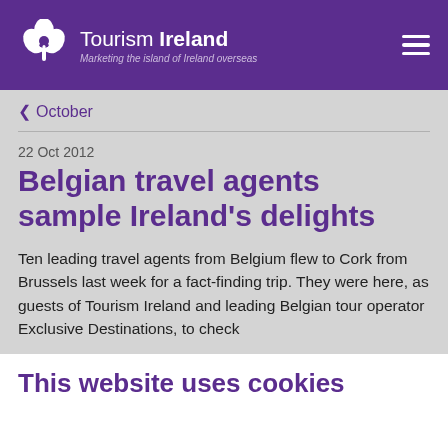Tourism Ireland — Marketing the island of Ireland overseas
< October
22 Oct 2012
Belgian travel agents sample Ireland’s delights
Ten leading travel agents from Belgium flew to Cork from Brussels last week for a fact-finding trip. They were here, as guests of Tourism Ireland and leading Belgian tour operator Exclusive Destinations, to check
This website uses cookies